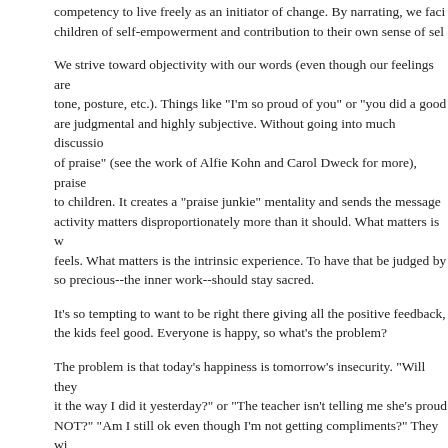competency to live freely as an initiator of change. By narrating, we faci children of self-empowerment and contribution to their own sense of sel
We strive toward objectivity with our words (even though our feelings are tone, posture, etc.). Things like "I'm so proud of you" or "you did a good are judgmental and highly subjective. Without going into much discussio of praise" (see the work of Alfie Kohn and Carol Dweck for more), praise to children. It creates a "praise junkie" mentality and sends the message activity matters disproportionately more than it should. What matters is w feels. What matters is the intrinsic experience. To have that be judged b so precious--the inner work--should stay sacred.
It's so tempting to want to be right there giving all the positive feedback, the kids feel good. Everyone is happy, so what's the problem?
The problem is that today's happiness is tomorrow's insecurity. "Will they it the way I did it yesterday?" or "The teacher isn't telling me she's proud NOT?" "Am I still ok even though I'm not getting compliments?" They wi judgment, ahem, I mean compliment, every time they produce somethin internal sense of pride and intrinsic value in their work. And what's worse sense of that inner quiet self, that small voice inside that we call intuition is external validation. We want to continually bring that back inward.
It feels good to be noticed. It feels good to simply be seen. We don't nee just need to BE THERE. Not on our phones. Not half listening. Not pati